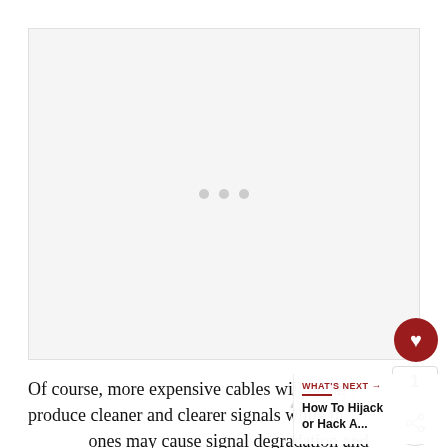[Figure (other): Advertisement placeholder box with three grey dots in the center indicating a loading/empty ad unit]
[Figure (other): UI overlay with heart/like button (red circle with white heart icon), count of 1, and share button]
[Figure (other): WHAT'S NEXT overlay panel showing 'How To Hijack or Hack A...' with red underline divider]
Of course, more expensive cables will be able to produce cleaner and clearer signals while the cheaper ones may cause signal degradation and lesser quality